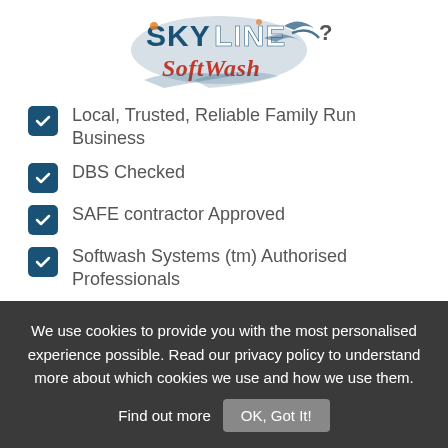[Figure (logo): Skyline SoftWash company logo with blue water splash design and red cursive text]
Local, Trusted, Reliable Family Run Business
DBS Checked
SAFE contractor Approved
Softwash Systems (tm) Authorised Professionals
IPAF/MEWPs Trained Operatives
CSCS Registered Staff
We use cookies to provide you with the most personalised experience possible. Read our privacy policy to understand more about which cookies we use and how we use them. Find out more   OK, Got It!